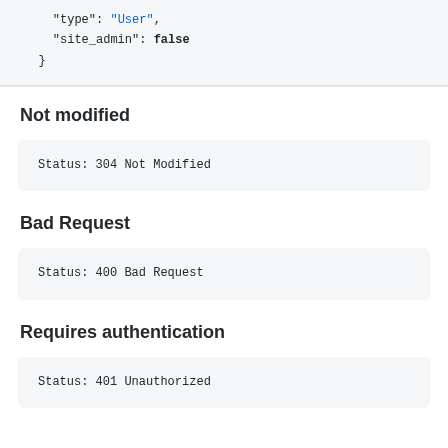[Figure (screenshot): Code block showing JSON snippet with 'type': 'User', 'site_admin': false and closing brace]
Not modified
[Figure (screenshot): Code block showing: Status: 304 Not Modified]
Bad Request
[Figure (screenshot): Code block showing: Status: 400 Bad Request]
Requires authentication
[Figure (screenshot): Code block showing: Status: 401 Unauthorized]